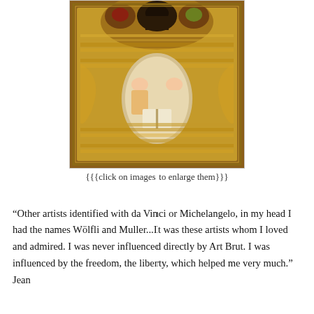[Figure (illustration): A complex, ornate religious-style artwork with golden tones, intricate patterns, figures in medallions at the top, symmetrical architectural/decorative elements throughout, and two central angelic figures surrounding an open book in the middle. The artwork is densely detailed with repeated motifs of figures, arches, and ornamental patterns in gold, pink, and brown tones.]
{{{click on images to enlarge them}}}
“Other artists identified with da Vinci or Michelangelo, in my head I had the names Wölfli and Muller...It was these artists whom I loved and admired. I was never influenced directly by Art Brut. I was influenced by the freedom, the liberty, which helped me very much.”  Jean